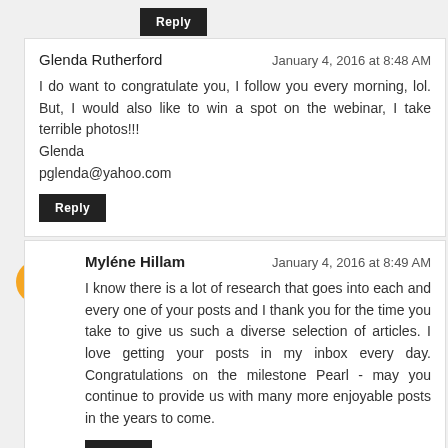Reply (button at top)
Glenda Rutherford — January 4, 2016 at 8:48 AM
I do want to congratulate you, I follow you every morning, lol. But, I would also like to win a spot on the webinar, I take terrible photos!!!
Glenda
pglenda@yahoo.com
Reply
Myléne Hillam — January 4, 2016 at 8:49 AM
I know there is a lot of research that goes into each and every one of your posts and I thank you for the time you take to give us such a diverse selection of articles. I love getting your posts in my inbox every day. Congratulations on the milestone Pearl - may you continue to provide us with many more enjoyable posts in the years to come.
Reply